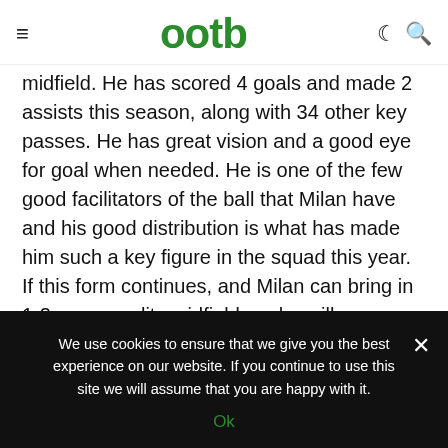ootb
midfield. He has scored 4 goals and made 2 assists this season, along with 34 other key passes. He has great vision and a good eye for goal when needed. He is one of the few good facilitators of the ball that Milan have and his good distribution is what has made him such a key figure in the squad this year. If this form continues, and Milan can bring in 1-2 more quality midfielders, he will undoubtedly only get better and go on to captain Milan in the latter stages of his career.
We use cookies to ensure that we give you the best experience on our website. If you continue to use this site we will assume that you are happy with it.
Ok